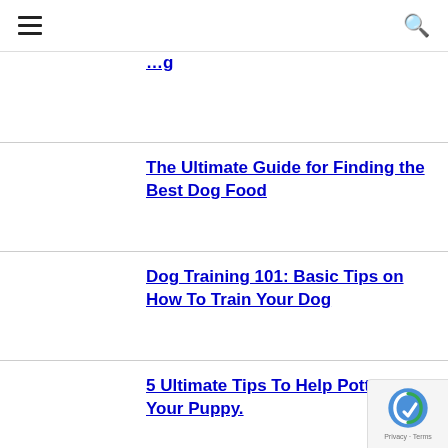≡ 🔍
The Ultimate Guide for Finding the Best Dog Food
Dog Training 101: Basic Tips on How To Train Your Dog
5 Ultimate Tips To Help Potty Train Your Puppy.